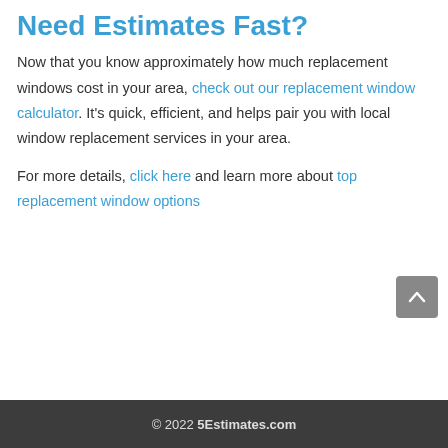Need Estimates Fast?
Now that you know approximately how much replacement windows cost in your area, check out our replacement window calculator. It's quick, efficient, and helps pair you with local window replacement services in your area.
For more details, click here and learn more about top replacement window options
© 2022 5Estimates.com